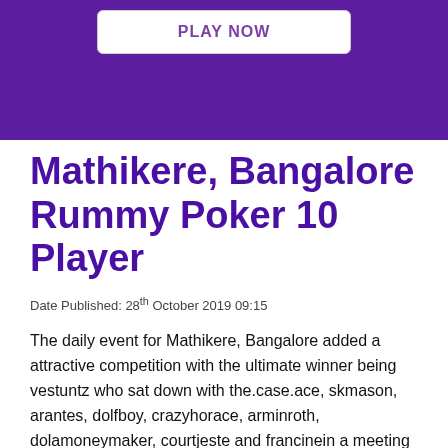[Figure (other): Purple banner with white 'PLAY NOW' button and large decorative text in background]
Mathikere, Bangalore Rummy Poker 10 Player
Date Published: 28th October 2019 09:15
The daily event for Mathikere, Bangalore added a attractive competition with the ultimate winner being vestuntz who sat down with the.case.ace, skmason, arantes, dolfboy, crazyhorace, arminroth, dolamoneymaker, courtjeste and francinein a meeting